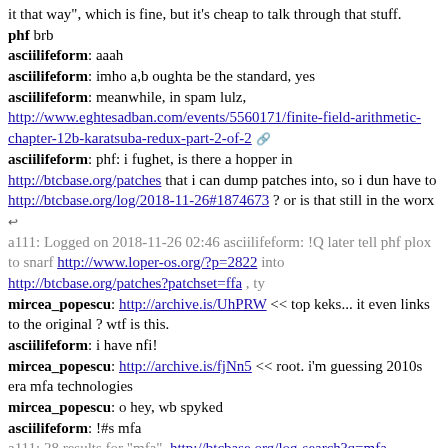it that way", which is fine, but it's cheap to talk through that stuff.
phf brb
asciilifeform: aaah
asciilifeform: imho a,b oughta be the standard, yes
asciilifeform: meanwhile, in spam lulz, http://www.eghtesadban.com/events/5560171/finite-field-arithmetic-chapter-12b-karatsuba-redux-part-2-of-2
asciilifeform: phf: i fughet, is there a hopper in http://btcbase.org/patches that i can dump patches into, so i dun have to http://btcbase.org/log/2018-11-26#1874673 ? or is that still in the worx
a111: Logged on 2018-11-26 02:46 asciilifeform: !Q later tell phf plox to snarf http://www.loper-os.org/?p=2822 into http://btcbase.org/patches?patchset=ffa , ty
mircea_popescu: http://archive.is/UhPRW << top keks... it even links to the original ? wtf is this.
asciilifeform: i have nfi!
mircea_popescu: http://archive.is/fjNn5 << root. i'm guessing 2010s era mfa technologies
mircea_popescu: o hey, wb spyked
asciilifeform: !#s mfa
a111: 28 results for "mfa", http://btcbase.org/log-search?q=mfa
mircea_popescu: http://btcbase.org/log/2018-11-26#1874708 << lmao this is a little brusque isn't it. suppose you disable it in this feedbot thing we now see for the first time. let it do pm only, work